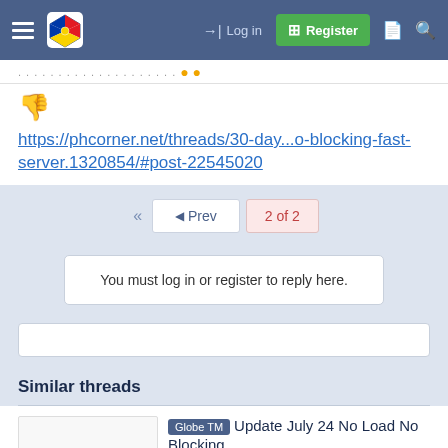Log in  Register
https://phcorner.net/threads/30-day...o-blocking-fast-server.1320854/#post-22545020
Prev  2 of 2
You must log in or register to reply here.
Similar threads
Globe TM Update July 24 No Load No Blocking
iru4linuS Ultra Custom